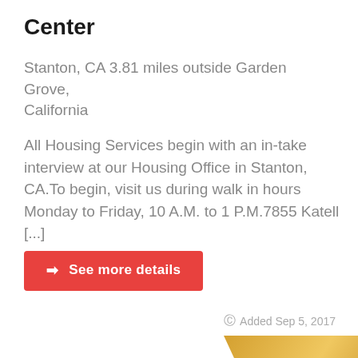Center
Stanton, CA 3.81 miles outside Garden Grove, California
All Housing Services begin with an in-take interview at our Housing Office in Stanton, CA.To begin, visit us during walk in hours Monday to Friday, 10 A.M. to 1 P.M.7855 Katell [...]
See more details
Added Sep 5, 2017
[Figure (illustration): Gold ribbon/award badge graphic with text 'FOR WOMEN' and '30 YEARS O...' partially visible at bottom]